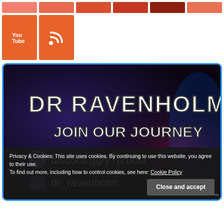[Figure (screenshot): Row of colored social media icon boxes in shades of orange and red, plus YouTube and RSS icons below]
[Figure (illustration): DR RAVENHOLM banner image with text 'JOIN OUR JOURNEY', discord.gg/yTj2ucM, dr_ravenholm on Twitch, on a dark purple/blue background with blue glowing border]
Privacy & Cookies: This site uses cookies. By continuing to use this website, you agree to their use. To find out more, including how to control cookies, see here: Cookie Policy
Close and accept